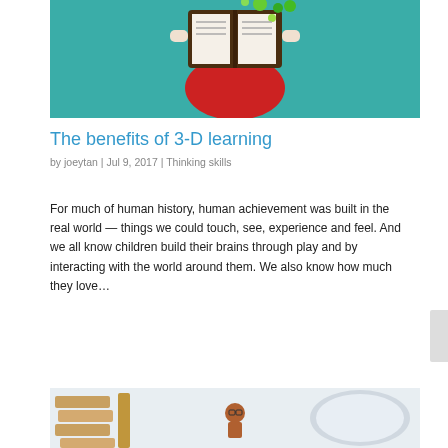[Figure (photo): Child wearing a red skirt holding an open book with colorful circles floating out of it, against a teal background]
The benefits of 3-D learning
by joeytan  |  Jul 9, 2017  |  Thinking skills
For much of human history, human achievement was built in the real world — things we could touch, see, experience and feel. And we all know children build their brains through play and by interacting with the world around them. We also know how much they love…
[Figure (photo): Wooden Jenga blocks on the left, a Lego figure with glasses in the center, and a circular bowl/tray on the right, on a light background]